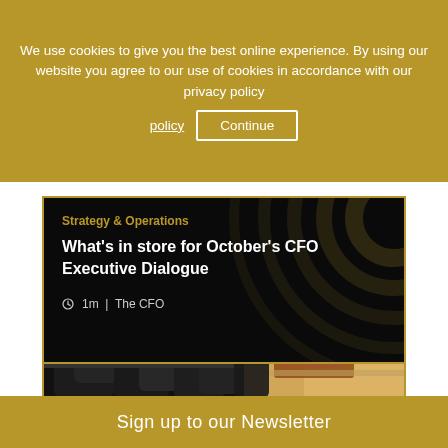We use cookies to give you the best online experience. By using our website you agree to our use of cookies in accordance with our privacy policy  Continue
[Figure (screenshot): Article card with dark background and concentric golden circle decorative pattern. Category label 'Strategy & Operations' in gold, title 'What's in store for October's CFO Executive Dialogue' in white bold text, and metadata '1m | The CFO' with clock icon.]
[Figure (photo): Photo of dark leather boardroom chairs at a conference table with a bright, sunlit background showing office furniture.]
Sign up to our Newsletter